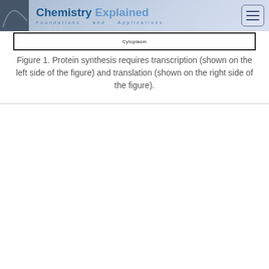Chemistry Explained Foundations and Applications
[Figure (illustration): Bottom portion of a protein synthesis diagram showing a box labeled 'Cytoplasm' at the bottom]
Figure 1. Protein synthesis requires transcription (shown on the left side of the figure) and translation (shown on the right side of the figure).